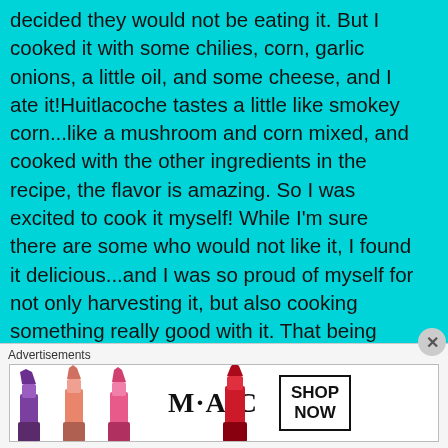decided they would not be eating it. But I cooked it with some chilies, corn, garlic onions, a little oil, and some cheese, and I ate it! Huitlacoche tastes a little like smokey corn...like a mushroom and corn mixed, and cooked with the other ingredients in the recipe, the flavor is amazing. So I was excited to cook it myself! While I'm sure there are some who would not like it, I found it delicious...and I was so proud of myself for not only harvesting it, but also cooking something really good with it. That being said, the rest of my family would not eat it, but they aren't very adventurous eaters anyway. I'm not sure they believed me when I told them it was safe. Maybe they thought they shouldn't eat it in case I needed to go
Advertisements
[Figure (photo): MAC Cosmetics advertisement banner showing colorful lipsticks (purple, peach, pink, red) alongside the MAC logo and a 'SHOP NOW' call-to-action box]